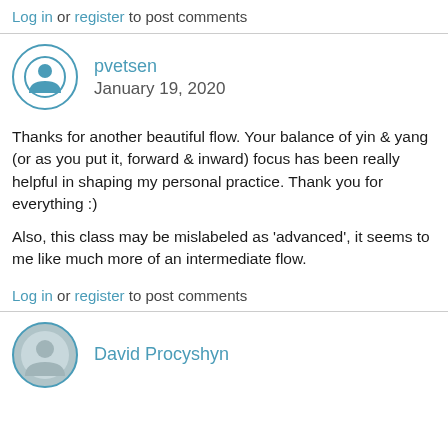Log in or register to post comments
pvetsen
January 19, 2020
Thanks for another beautiful flow. Your balance of yin & yang (or as you put it, forward & inward) focus has been really helpful in shaping my personal practice. Thank you for everything :)
Also, this class may be mislabeled as 'advanced', it seems to me like much more of an intermediate flow.
Log in or register to post comments
David Procyshyn